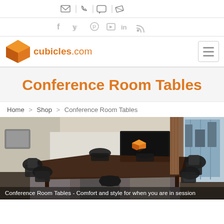✉ | ✆ | ✉ | ✏
f  y  ⊕  ▶  in  RSS
[Figure (logo): cubicles.com logo with orange geometric cube icon and orange text 'cubicles.com']
Conference Room Tables
Home > Shop > Conference Room Tables
[Figure (photo): Conference room with dark rectangular table surrounded by black leather chairs, wall-mounted TV displaying cubicles.com logo, city view windows, carpeted floor. Caption: Conference Room Tables - Comfort and style for when you are in session]